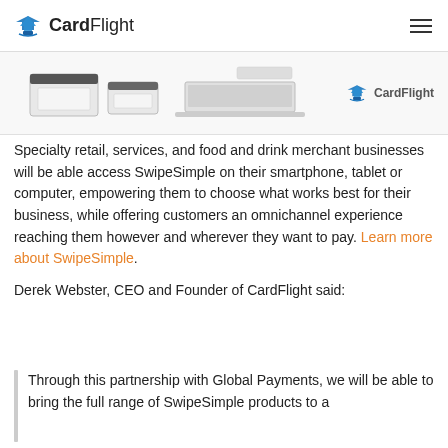CardFlight
[Figure (photo): Product device illustrations (card readers and devices) with CardFlight logo on the right side]
Specialty retail, services, and food and drink merchant businesses will be able access SwipeSimple on their smartphone, tablet or computer, empowering them to choose what works best for their business, while offering customers an omnichannel experience reaching them however and wherever they want to pay. Learn more about SwipeSimple.
Derek Webster, CEO and Founder of CardFlight said:
Through this partnership with Global Payments, we will be able to bring the full range of SwipeSimple products to a